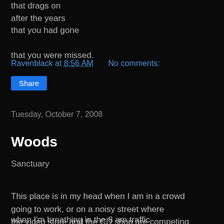that drags on
after the years
that you had gone

that you were missed.
Ravenblack at 8:56 AM    No comments:
Share
Tuesday, October 7, 2008
Woods
Sanctuary
This place is in my head when I am in a crowd going to work, or on a noisy street where the video store and the CD shop are competing for passing eyes and ears,
when I'm breathing in the 8 am traffic